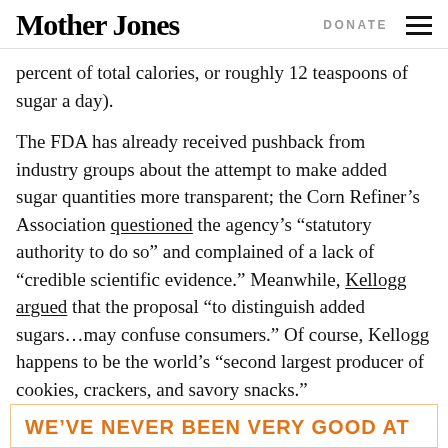Mother Jones  DONATE
percent of total calories, or roughly 12 teaspoons of sugar a day).
The FDA has already received pushback from industry groups about the attempt to make added sugar quantities more transparent; the Corn Refiner’s Association questioned the agency’s “statutory authority to do so” and complained of a lack of “credible scientific evidence.” Meanwhile, Kellogg argued that the proposal “to distinguish added sugars…may confuse consumers.” Of course, Kellogg happens to be the world’s “second largest producer of cookies, crackers, and savory snacks.”
WE’VE NEVER BEEN VERY GOOD AT